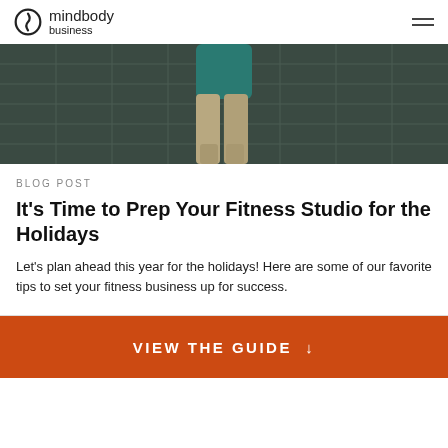mindbody business
[Figure (photo): Person from behind wearing teal shirt and khaki pants, walking on tiled concrete floor, viewed from above/behind.]
BLOG POST
It's Time to Prep Your Fitness Studio for the Holidays
Let's plan ahead this year for the holidays! Here are some of our favorite tips to set your fitness business up for success.
VIEW THE GUIDE ↓